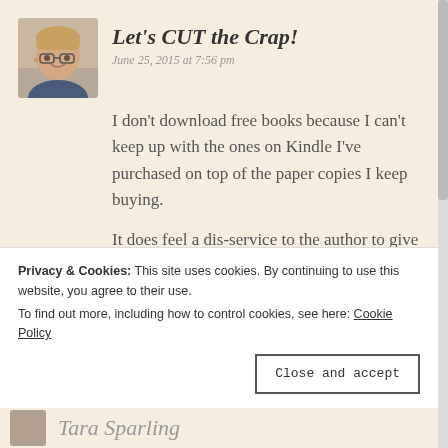[Figure (photo): Avatar/profile photo of a woman with short hair and glasses, smiling]
Let's CUT the Crap!
June 25, 2015 at 7:56 pm
I don't download free books because I can't keep up with the ones on Kindle I've purchased on top of the paper copies I keep buying.
It does feel a dis-service to the author to give away books free for all the reasons you've mentioned.
Liked by 2 people
Privacy & Cookies: This site uses cookies. By continuing to use this website, you agree to their use.
To find out more, including how to control cookies, see here: Cookie Policy
Close and accept
Tara Sparling